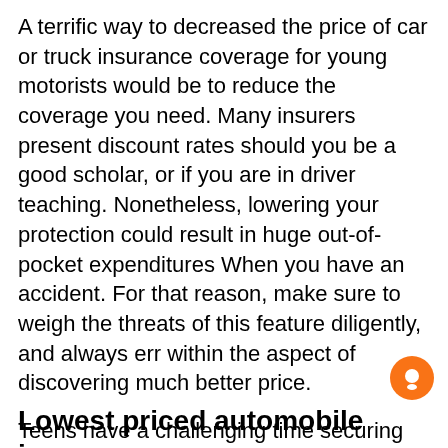A terrific way to decreased the price of car or truck insurance coverage for young motorists would be to reduce the coverage you need. Many insurers present discount rates should you be a good scholar, or if you are in driver teaching. Nonetheless, lowering your protection could result in huge out-of-pocket expenditures When you have an accident. For that reason, make sure to weigh the threats of this feature diligently, and always err within the aspect of discovering much better price.
Teens have a challenging time securing cheap automobile insurance policy. Even though the price of a plan for the sixteen-year-old driver is much better than that of an adult, it could be minimized by adding a teenager to an existing plan. This feature raises charges by a mean of $one,461 a calendar year, but is often cheaper than getting a individual plan. Additionally, for anyone who is a young driver, seek out discount rates as well as other strategies to save lots of
Lowest priced automobile insurance